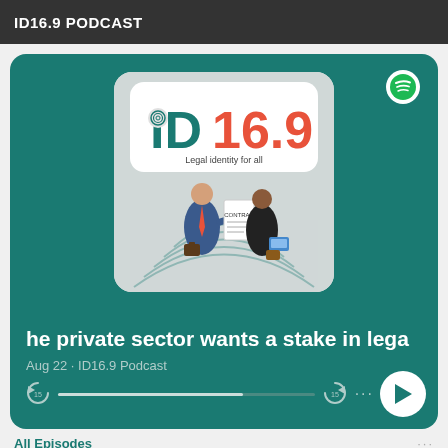ID16.9 PODCAST
[Figure (screenshot): Spotify podcast card for ID16.9 Podcast episode 'The private sector wants a stake in legal identity'. Shows the ID16.9 logo (Legal identity for all) with an illustration of two businessmen reviewing a contract, concentric arc lines, Spotify logo top right, episode title partially cut off, date Aug 22 · ID16.9 Podcast, progress bar, skip buttons, and play button.]
he private sector wants a stake in lega
Aug 22 · ID16.9 Podcast